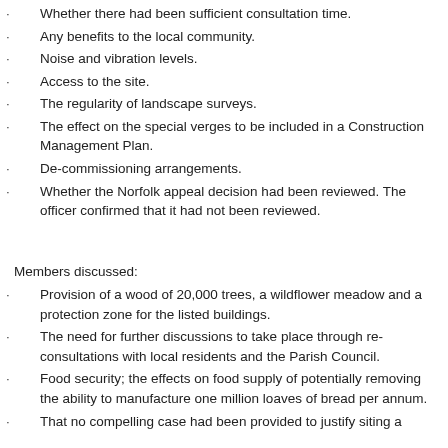Whether there had been sufficient consultation time.
Any benefits to the local community.
Noise and vibration levels.
Access to the site.
The regularity of landscape surveys.
The effect on the special verges to be included in a Construction Management Plan.
De-commissioning arrangements.
Whether the Norfolk appeal decision had been reviewed. The officer confirmed that it had not been reviewed.
Members discussed:
Provision of a wood of 20,000 trees, a wildflower meadow and a protection zone for the listed buildings.
The need for further discussions to take place through re-consultations with local residents and the Parish Council.
Food security; the effects on food supply of potentially removing the ability to manufacture one million loaves of bread per annum.
That no compelling case had been provided to justify siting a